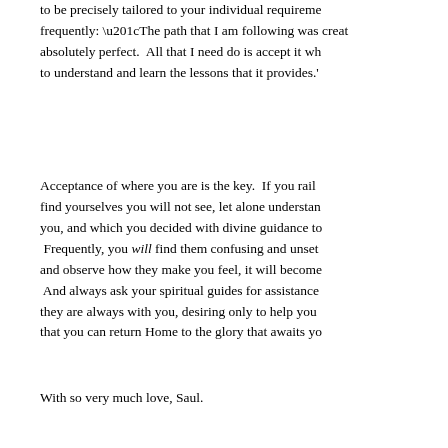to be precisely tailored to your individual requirements frequently: “The path that I am following was created absolutely perfect. All that I need do is accept it wh to understand and learn the lessons that it provides.’
Acceptance of where you are is the key. If you rail find yourselves you will not see, let alone understand you, and which you decided with divine guidance to Frequently, you will find them confusing and unset and observe how they make you feel, it will become And always ask your spiritual guides for assistance they are always with you, desiring only to help you that you can return Home to the glory that awaits yo
With so very much love, Saul.